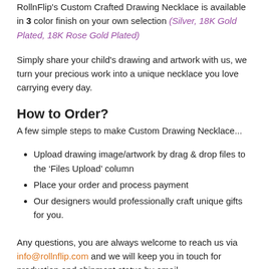RollnFlip's Custom Crafted Drawing Necklace is available in 3 color finish on your own selection (Silver, 18K Gold Plated, 18K Rose Gold Plated)
Simply share your child's drawing and artwork with us, we turn your precious work into a unique necklace you love carrying every day.
How to Order?
A few simple steps to make Custom Drawing Necklace...
Upload drawing image/artwork by drag & drop files to the 'Files Upload' column
Place your order and process payment
Our designers would professionally craft unique gifts for you.
Any questions, you are always welcome to reach us via info@rollnflip.com and we will keep you in touch for production and shipment status by email.